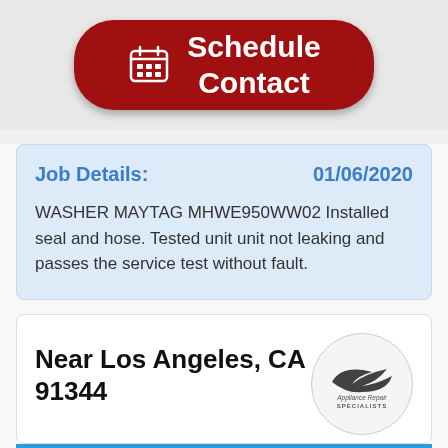[Figure (other): Red rounded button with calendar icon and text 'Schedule Contact']
Job Details: 01/06/2020
WASHER MAYTAG MHWE950WW02 Installed seal and hose. Tested unit unit not leaking and passes the service test without fault.
Near Los Angeles, CA 91344
[Figure (logo): Appliance Repair Specialists logo in circle]
Raymond